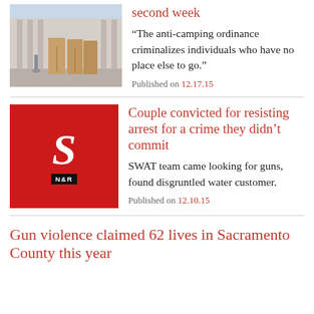[Figure (photo): Photo of portable toilets on a city sidewalk/plaza]
Homelessness policy enters second week
“The anti-camping ordinance criminalizes individuals who have no place else to go.”
Published on 12.17.15
[Figure (logo): Sacramento News & Review logo: red background with stylized italic S and N&R badge]
Couple convicted for resisting arrest for a crime they didn’t commit
SWAT team came looking for guns, found disgruntled water customer.
Published on 12.10.15
Gun violence claimed 62 lives in Sacramento County this year